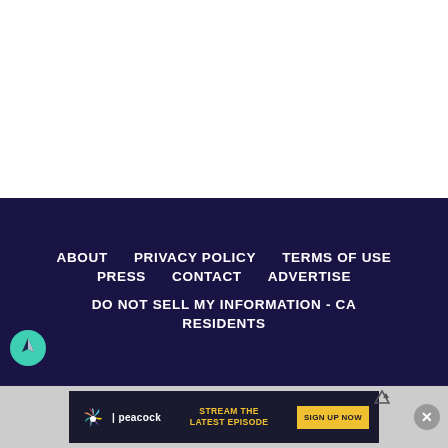[Figure (other): White empty area at top of page]
ABOUT   PRIVACY POLICY   TERMS OF USE
PRESS   CONTACT   ADVERTISE
DO NOT SELL MY INFORMATION - CA RESIDENTS
[Figure (infographic): Peacock streaming advertisement banner: STREAM THE LATEST EPISODE | SIGN UP NOW]